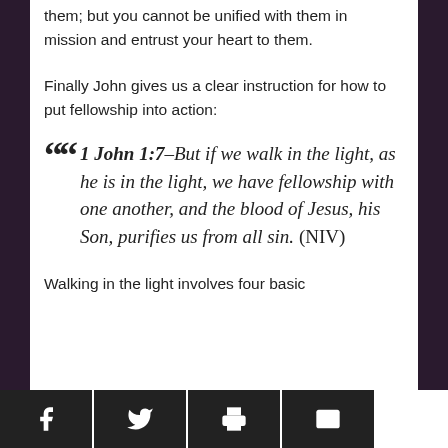them; but you cannot be unified with them in mission and entrust your heart to them.
Finally John gives us a clear instruction for how to put fellowship into action:
1 John 1:7–But if we walk in the light, as he is in the light, we have fellowship with one another, and the blood of Jesus, his Son, purifies us from all sin. (NIV)
Walking in the light involves four basic
[Figure (other): Social media sharing buttons: Facebook, Twitter, Print, Email]